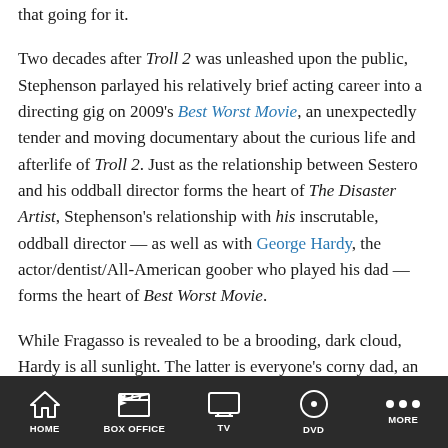that going for it.
Two decades after Troll 2 was unleashed upon the public, Stephenson parlayed his relatively brief acting career into a directing gig on 2009's Best Worst Movie, an unexpectedly tender and moving documentary about the curious life and afterlife of Troll 2. Just as the relationship between Sestero and his oddball director forms the heart of The Disaster Artist, Stephenson's relationship with his inscrutable, oddball director — as well as with George Hardy, the actor/dentist/All-American goober who played his dad — forms the heart of Best Worst Movie.
While Fragasso is revealed to be a brooding, dark cloud, Hardy is all sunlight. The latter is everyone's corny dad, an irrepressible Alabama dentist, beloved in his community, who could not be more quintessentially American, in no small part because he dreamed of being an actor and making it in show business despite having no discernible talent in the field. He is, by every account, a great guy, but also a terrible actor whose moment of
HOME  BOX OFFICE  TV  DVD  MORE